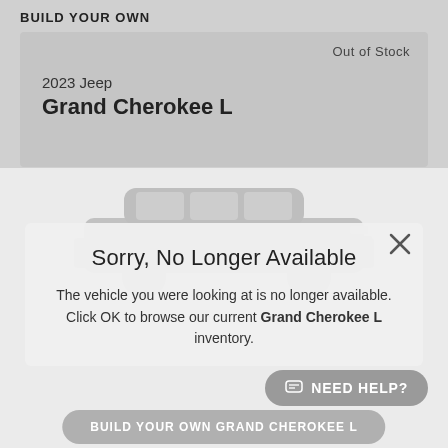BUILD YOUR OWN
Out of Stock
2023 Jeep
Grand Cherokee L
[Figure (photo): Faded/greyed out image of a 2023 Jeep Grand Cherokee L SUV viewed from the side-front angle]
Sorry, No Longer Available
The vehicle you were looking at is no longer available. Click OK to browse our current Grand Cherokee L inventory.
Build Your Vehicle
Starting at $42,795* MSRP
🔒 UNLOCK PRICE
💬 NEED HELP?
BUILD YOUR OWN GRAND CHEROKEE L